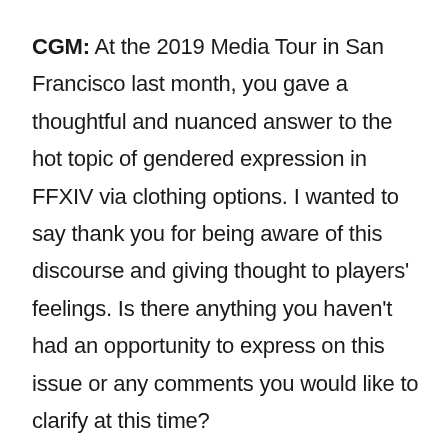CGM: At the 2019 Media Tour in San Francisco last month, you gave a thoughtful and nuanced answer to the hot topic of gendered expression in FFXIV via clothing options. I wanted to say thank you for being aware of this discourse and giving thought to players' feelings. Is there anything you haven't had an opportunity to express on this issue or any comments you would like to clarify at this time?